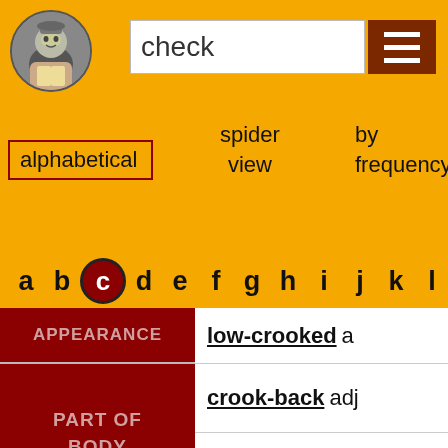[Figure (illustration): Shakespeare portrait circular thumbnail in top left]
check
[Figure (illustration): Menu/hamburger icon button in dark red]
alphabetical
spider view
by frequency by
a b c d e f g h i j k l m n o p q
| Category | Entry |
| --- | --- |
| APPEARANCE | low-crooked a |
| PART OF BODY | crook-back adj |
| PART OF BODY | crook-back n |